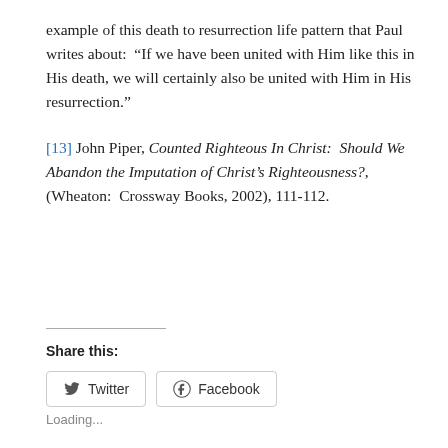example of this death to resurrection life pattern that Paul writes about:  “If we have been united with Him like this in His death, we will certainly also be united with Him in His resurrection.”
[13] John Piper, Counted Righteous In Christ:  Should We Abandon the Imputation of Christ’s Righteousness?, (Wheaton:  Crossway Books, 2002), 111-112.
Share this:
Twitter
Facebook
Loading...